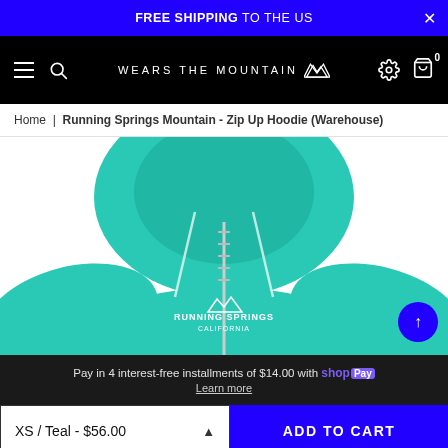FREE SHIPPING TO THE US
[Figure (screenshot): Navigation bar for 'Wears The Mountain' e-commerce site on dark background with hamburger, search, logo, settings and cart icons]
Home | Running Springs Mountain - Zip Up Hoodie (Warehouse)
[Figure (photo): Teal zip-up hoodie with Running Springs California mountain logo in white, shown from front on white background]
Pay in 4 interest-free installments of $14.00 with shop Pay Learn more
XS / Teal - $56.00
ADD TO CART